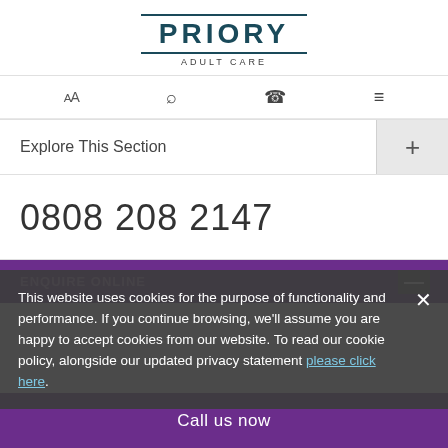[Figure (logo): Priory Adult Care logo — PRIORY in bold teal with double rule, ADULT CARE in small caps below]
AA  🔍  📞  ≡
Explore This Section  +
0808 208 2147
ENQUIRE ONLINE  —
This website uses cookies for the purpose of functionality and performance. If you continue browsing, we'll assume you are happy to accept cookies from our website. To read our cookie policy, alongside our updated privacy statement please click here.
Call us now